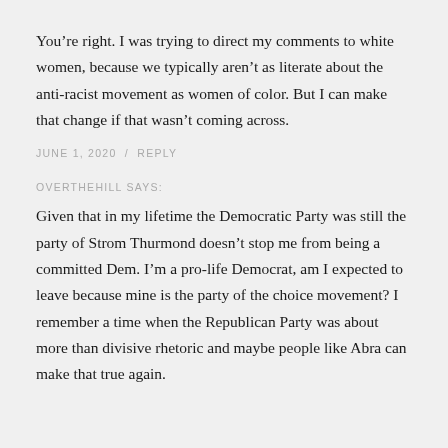You’re right. I was trying to direct my comments to white women, because we typically aren’t as literate about the anti-racist movement as women of color. But I can make that change if that wasn’t coming across.
JUNE 1, 2020 / REPLY
OVERTHEHILL SAYS:
Given that in my lifetime the Democratic Party was still the party of Strom Thurmond doesn’t stop me from being a committed Dem. I’m a pro-life Democrat, am I expected to leave because mine is the party of the choice movement? I remember a time when the Republican Party was about more than divisive rhetoric and maybe people like Abra can make that true again.